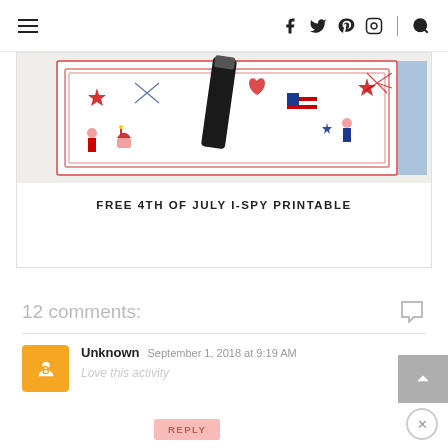Navigation bar with hamburger menu, social icons (Facebook, Twitter, Pinterest, Instagram), divider, search
[Figure (photo): Photo of a 4th of July I-Spy printable with patriotic decorations including American flags, fireworks, stars, cupcakes, and children in red/white/blue, with a black marker on top]
FREE 4TH OF JULY I-SPY PRINTABLE
12 comments:
Unknown  September 1, 2018 at 9:19 AM
Love this activity